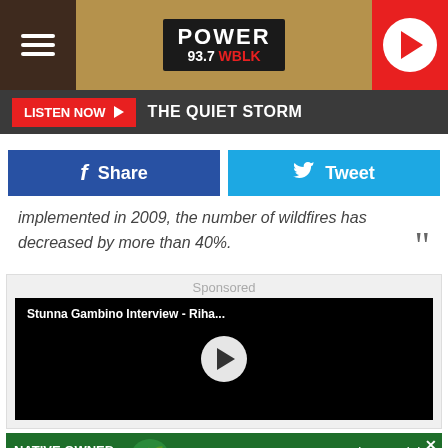POWER 93.7 WBLK
LISTEN NOW ▶  THE QUIET STORM
[Figure (screenshot): Facebook Share button and Twitter Tweet button]
implemented in 2009, the number of wildfires has decreased by more than 40%.
Sponsored
[Figure (screenshot): Video player showing Stunna Gambino Interview - Riha... with play button]
[Figure (screenshot): Ad banner: NATIVE OWNED AND OPERATED - Moody's Dispensary - 11187 Southwestern Blvd, Irving, NY 14081 - For adults use 21+. Keep out of reach of children.]